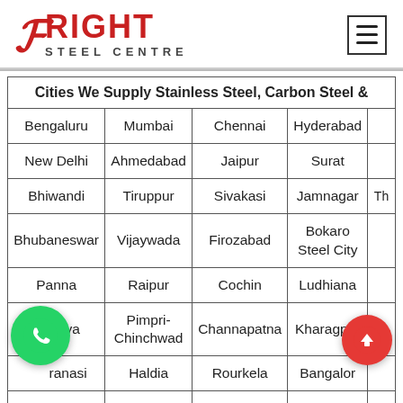[Figure (logo): Bright Steel Centre logo with red B and BRIGHT text, STEEL CENTRE subtitle]
| Cities We Supply Stainless Steel, Carbon Steel & |
| --- |
| Bengaluru | Mumbai | Chennai | Hyderabad |  |
| New Delhi | Ahmedabad | Jaipur | Surat |  |
| Bhiwandi | Tiruppur | Sivakasi | Jamnagar | Th |
| Bhubaneswar | Vijaywada | Firozabad | Bokaro Steel City |  |
| Panna | Raipur | Cochin | Ludhiana |  |
| Peenya | Pimpri-Chinchwad | Channapatna | Kharagpur |  |
| Varanasi | Haldia | Rourkela | Bangalore |  |
| Visakhapatnam | Trivandrum | Pithampur | Dibrugarh |  |